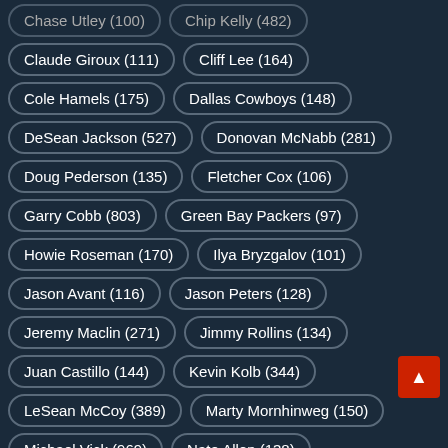Chase Utley (100)
Chip Kelly (482)
Claude Giroux (111)
Cliff Lee (164)
Cole Hamels (175)
Dallas Cowboys (148)
DeSean Jackson (527)
Donovan McNabb (281)
Doug Pederson (135)
Fletcher Cox (106)
Garry Cobb (803)
Green Bay Packers (97)
Howie Roseman (170)
Ilya Bryzgalov (101)
Jason Avant (116)
Jason Peters (128)
Jeremy Maclin (271)
Jimmy Rollins (134)
Juan Castillo (144)
Kevin Kolb (344)
LeSean McCoy (389)
Marty Mornhinweg (150)
Michael Vick (969)
Nate Allen (138)